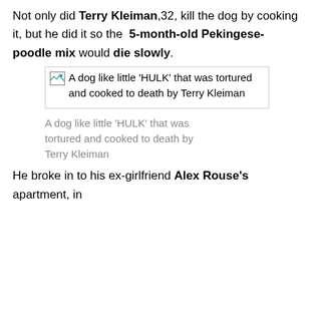Not only did Terry Kleiman,32, kill the dog by cooking it, but he did it so the 5-month-old Pekingese-poodle mix would die slowly.
[Figure (photo): Broken image placeholder showing alt text: A dog like little 'HULK' that was tortured and cooked to death by Terry Kleiman]
A dog like little 'HULK' that was tortured and cooked to death by Terry Kleiman
He broke in to his ex-girlfriend Alex Rouse's apartment, in